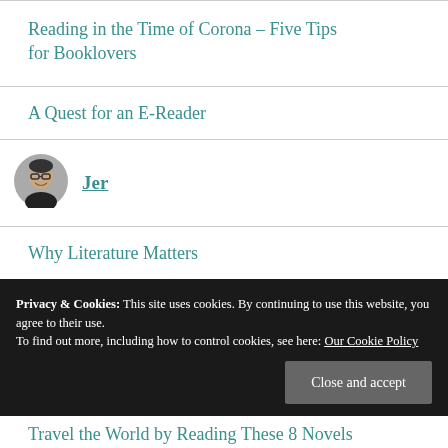Reading in the Time of Corona – Five Tips for Booklovers
A Quest for an E-Reader
[Figure (photo): Author photo: a person wearing glasses, smiling, with short hair — small circular avatar image]
Jer
Why Literature Matters
Why You Want an E-Reader
Reading Multiple Books at Once
Privacy & Cookies: This site uses cookies. By continuing to use this website, you agree to their use.
To find out more, including how to control cookies, see here: Our Cookie Policy
Travel the World by Reading These 8 Novels